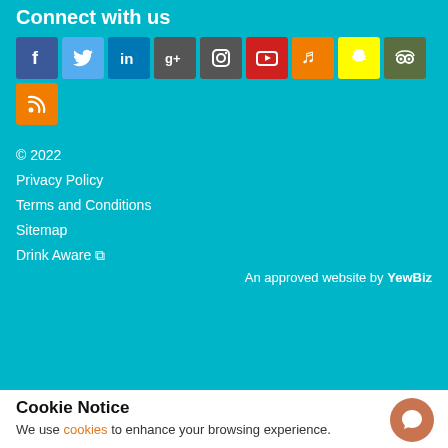Connect with us
[Figure (infographic): Social media icons row: Facebook, Twitter, LinkedIn, Google+, Instagram, YouTube, SoundCloud, Snapchat, TripAdvisor, RSS]
© 2022
Privacy Policy
Terms and Conditions
Sitemap
Drink Aware ☑
An approved website by YewBiz
Cookie Notice
We use cookies to enhance your browsing experience.